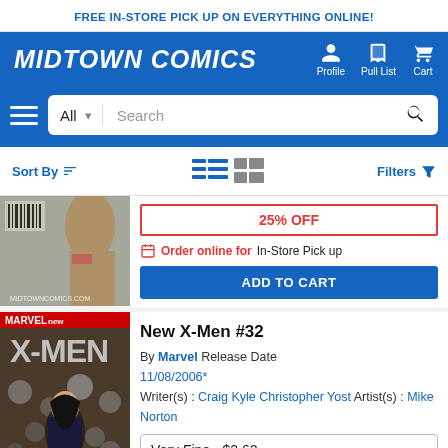FREE IN-STORE PICK UP ON EVERYTHING ONLINE!
MIDTOWN COMICS
Profile  Pull List  Cart
Sort By  Filters
[Figure (screenshot): Partial comic book cover image (top portion)]
25% OFF
Order online for In-Store Pick up
ADD TO CART
[Figure (screenshot): New X-Men #32 comic book cover showing X-Men characters and skulls]
New X-Men #32
By Marvel Release Date 11/08/2006* Writer(s): Craig Kyle Christopher Yost Artist(s): Mike Norton
Very Fine - $2.62
$3.49